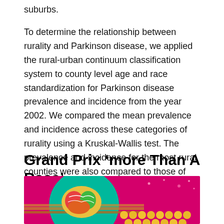suburbs.
To determine the relationship between rurality and Parkinson disease, we applied the rural-urban continuum classification system to county level age and race standardization for Parkinson disease prevalence and incidence from the year 2002. We compared the mean prevalence and incidence across these categories of rurality using a Kruskal-Wallis test. The prevalence and incidence for the most rural counties were also compared to those of the most urban counties with a two-tailed t test.
Grand Prix ‘more Than A Race’
[Figure (photo): Colorful illustration showing a stylized brain on a teal circular background on the left, and golden trophy-like spheres on a pink/magenta background on the right.]